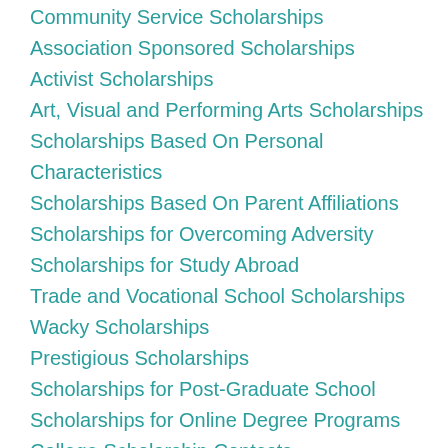Community Service Scholarships
Association Sponsored Scholarships
Activist Scholarships
Art, Visual and Performing Arts Scholarships
Scholarships Based On Personal Characteristics
Scholarships Based On Parent Affiliations
Scholarships for Overcoming Adversity
Scholarships for Study Abroad
Trade and Vocational School Scholarships
Wacky Scholarships
Prestigious Scholarships
Scholarships for Post-Graduate School
Scholarships for Online Degree Programs
College Scholarship Contests
Scholarships for Students with Disabilities
Scholarships for Culinary Arts Students
Community College Scholarships
Scholarships for Average Students